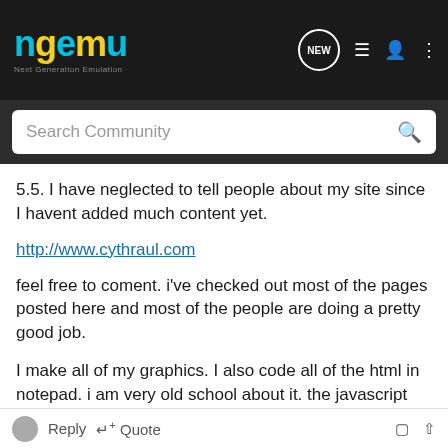ngemu — Next Generation Emulation
5.5. I have neglected to tell people about my site since I havent added much content yet.
http://www.cythraul.com
feel free to coment. i've checked out most of the pages posted here and most of the people are doing a pretty good job.
I make all of my graphics. I also code all of the html in notepad. i am very old school about it. the javascript codes were borrowed from the net with permission.
i made sure to link ngemu before posting this.
Reply  Quote